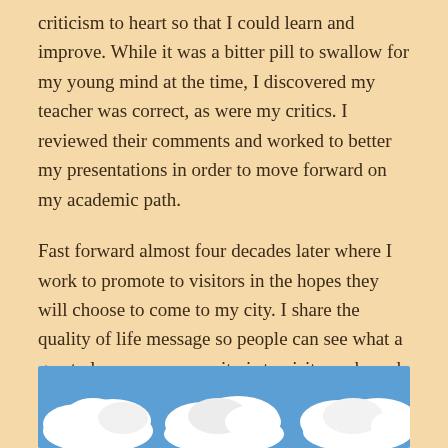criticism to heart so that I could learn and improve. While it was a bitter pill to swallow for my young mind at the time, I discovered my teacher was correct, as were my critics. I reviewed their comments and worked to better my presentations in order to move forward on my academic path.
Fast forward almost four decades later where I work to promote to visitors in the hopes they will choose to come to my city. I share the quality of life message so people can see what a great place my community is to visit, work, and live. Forty years later I am still receiving criticism for the job I'm doing. However, much of it seems to be more mean than constructive.
[Figure (photo): A photo of a blue sky with white fluffy clouds, partially visible at the bottom of the page.]